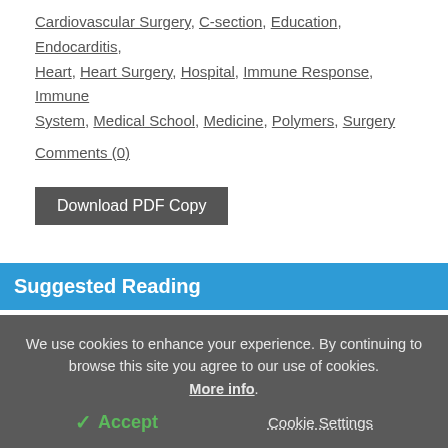Cardiovascular Surgery, C-section, Education, Endocarditis, Heart, Heart Surgery, Hospital, Immune Response, Immune System, Medical School, Medicine, Polymers, Surgery
Comments (0)
Download PDF Copy
Suggested Reading
[Figure (photo): Photo of glasses on a surface, partially visible, cropped]
What is the association between vision impairment and cognitive outcome?
We use cookies to enhance your experience. By continuing to browse this site you agree to our use of cookies. More info.
✓ Accept
Cookie Settings